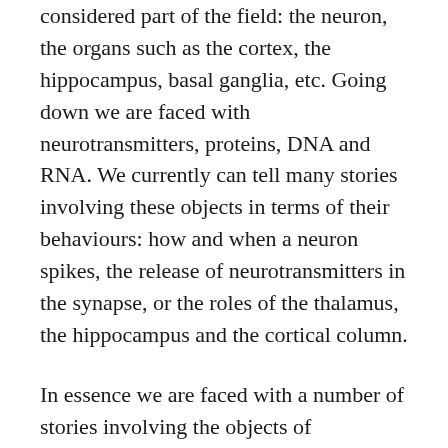considered part of the field: the neuron, the organs such as the cortex, the hippocampus, basal ganglia, etc. Going down we are faced with neurotransmitters, proteins, DNA and RNA. We currently can tell many stories involving these objects in terms of their behaviours: how and when a neuron spikes, the release of neurotransmitters in the synapse, or the roles of the thalamus, the hippocampus and the cortical column.
In essence we are faced with a number of stories involving the objects of neuroscience. Let's call these stories the pieces of a metaphorical puzzle. Sometimes we happen to find a fit between one piece and another, but in general we have no clue of how they might all fit together. The question that comes to mind is: how do the pieces fit together so that we can finally assemble